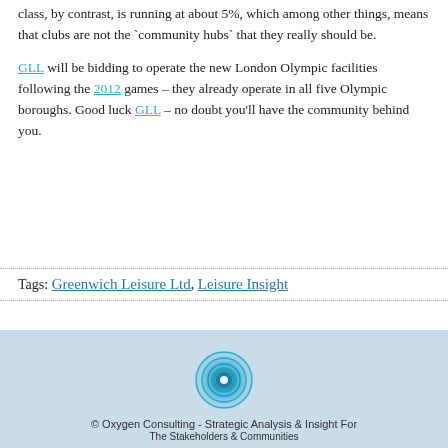class, by contrast, is running at about 5%, which among other things, means that clubs are not the `community hubs` that they really should be.
GLL will be bidding to operate the new London Olympic facilities following the 2012 games – they already operate in all five Olympic boroughs. Good luck GLL – no doubt you'll have the community behind you.
Tags: Greenwich Leisure Ltd, Leisure Insight
[Figure (logo): Oxygen Consulting circular logo with concentric rings in teal/blue]
© Oxygen Consulting - Strategic Analysis & Insight For The Stakeholders & Communities